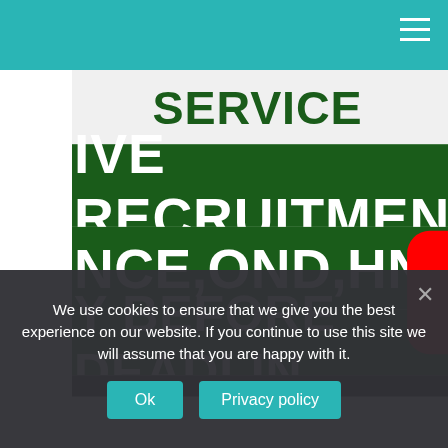[Figure (screenshot): YouTube video thumbnail showing a government service recruitment announcement. White section at top with 'SERVICE' in dark green. Below are alternating dark green and white bands with bold white text: 'IVE RECRUITMENT', 'NCE,OND,HND,DE', 'Y BEFORE DEADLIN'. A YouTube play button overlay is centered on the thumbnail.]
We use cookies to ensure that we give you the best experience on our website. If you continue to use this site we will assume that you are happy with it.
Ok
Privacy policy